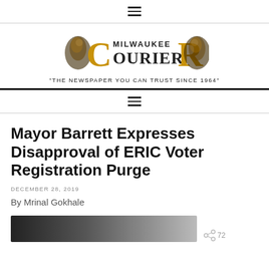≡
[Figure (logo): Milwaukee Courier newspaper logo with golden decorative 'C' and 'R' letters and tagline]
"THE NEWSPAPER YOU CAN TRUST SINCE 1964"
≡
Mayor Barrett Expresses Disapproval of ERIC Voter Registration Purge
DECEMBER 28, 2019
By Mrinal Gokhale
[Figure (photo): Partial photo at bottom of page]